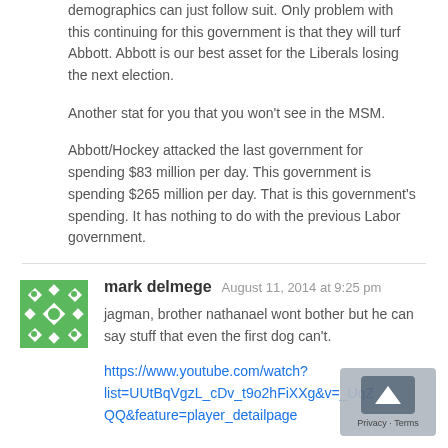demographics can just follow suit. Only problem with this continuing for this government is that they will turf Abbott. Abbott is our best asset for the Liberals losing the next election.
Another stat for you that you won't see in the MSM.
Abbott/Hockey attacked the last government for spending $83 million per day. This government is spending $265 million per day. That is this government's spending. It has nothing to do with the previous Labor government.
mark delmege  August 11, 2014 at 9:25 pm
jagman, brother nathanael wont bother but he can say stuff that even the first dog can't.
https://www.youtube.com/watch?list=UUtBqVgzL_cDv_t9o2hFiXXg&v=_UqZQQ&feature=player_detailpage